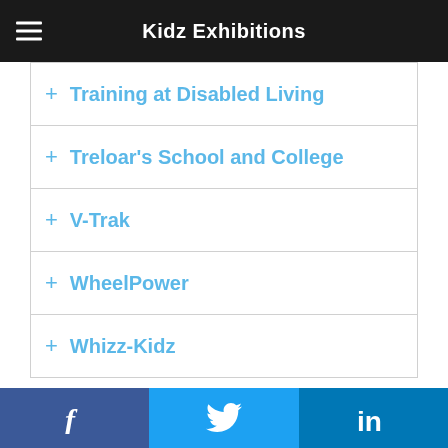Kidz Exhibitions
+ Training at Disabled Living
+ Treloar's School and College
+ V-Trak
+ WheelPower
+ Whizz-Kidz
Search
Follow Us
f  [Twitter bird]  in